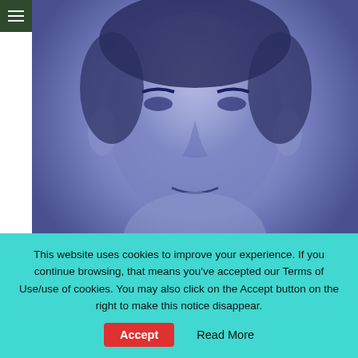[Figure (photo): Black-and-white portrait photo of a man (Rod Taylor), tinted blue-purple, close-up face shot]
Rod Taylor Movies: The Time Machine & The Birds + First Australian...
[Figure (photo): Close-up photo of a younger man's face, partially visible, against a dark background]
This website uses cookies to improve your experience. If you continue browsing, that means you've accepted our Terms of Use/use of cookies. You may also click on the Accept button on the right to make this notice disappear.
Accept
Read More